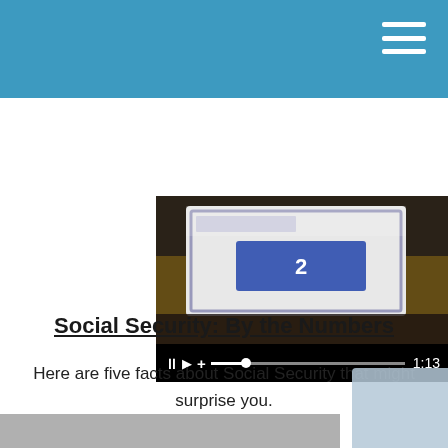[Figure (screenshot): Video player showing a Social Security card close-up photo with playback controls showing pause button, play button, volume/plus icon, a progress bar at approximately 18% progress, and a timestamp of 1:13]
Social Security: By the Numbers
Here are five facts about Social Security that might surprise you.
[Figure (screenshot): Partial bottom section showing a gray strip and a light blue-gray card thumbnail in the bottom right corner]